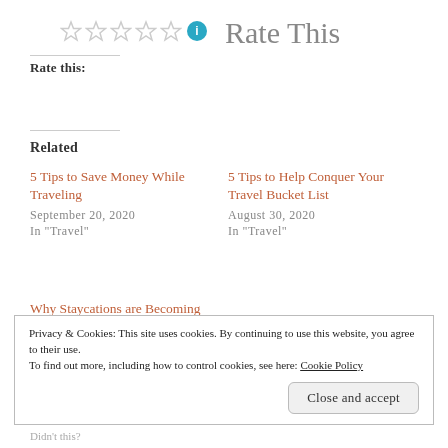[Figure (other): Five empty star rating icons followed by a teal info badge icon, and large text 'Rate This' to the right]
Rate this:
Related
5 Tips to Save Money While Traveling
September 20, 2020
In "Travel"
5 Tips to Help Conquer Your Travel Bucket List
August 30, 2020
In "Travel"
Why Staycations are Becoming the New Vacation
Privacy & Cookies: This site uses cookies. By continuing to use this website, you agree to their use.
To find out more, including how to control cookies, see here: Cookie Policy
Close and accept
Didn't this?